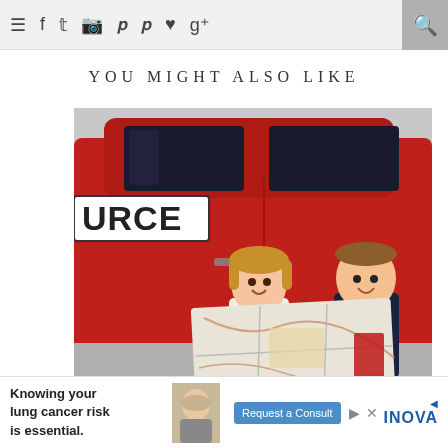Navigation bar with menu, social icons, and search
YOU MIGHT ALSO LIKE
[Figure (photo): Two children leaning out of a red car holding a road map, smiling at the camera. A partial logo reading 'URCE' is visible on the car. The background is grey/overcast.]
S FOR ROAD TRIPPING
[Figure (other): Advertisement banner: 'Knowing your lung cancer risk is essential.' with a 'Request a Consult' button and INOVA logo, featuring an elderly man's portrait.]